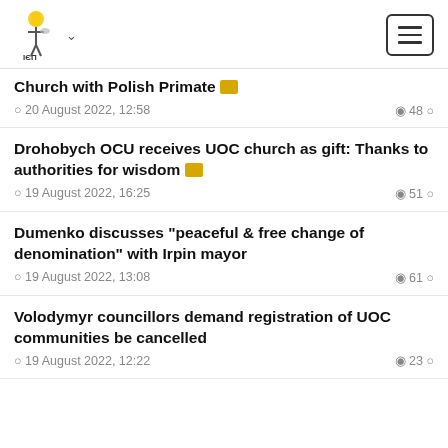OCU (logo) navigation header
Church with Polish Primate | 20 August 2022, 12:58 | 48 views
Drohobych OCU receives UOC church as gift: Thanks to authorities for wisdom | 19 August 2022, 16:25 | 51 views
Dumenko discusses "peaceful & free change of denomination" with Irpin mayor | 19 August 2022, 13:08 | 61 views
Volodymyr councillors demand registration of UOC communities be cancelled | 19 August 2022, 12:22 | 23 views